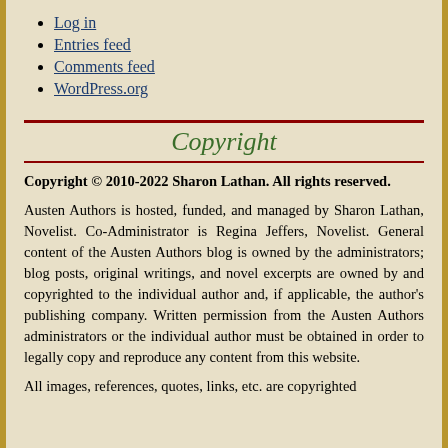Log in
Entries feed
Comments feed
WordPress.org
Copyright
Copyright © 2010-2022 Sharon Lathan. All rights reserved.
Austen Authors is hosted, funded, and managed by Sharon Lathan, Novelist. Co-Administrator is Regina Jeffers, Novelist. General content of the Austen Authors blog is owned by the administrators; blog posts, original writings, and novel excerpts are owned by and copyrighted to the individual author and, if applicable, the author's publishing company. Written permission from the Austen Authors administrators or the individual author must be obtained in order to legally copy and reproduce any content from this website.
All images, references, quotes, links, etc. are copyrighted